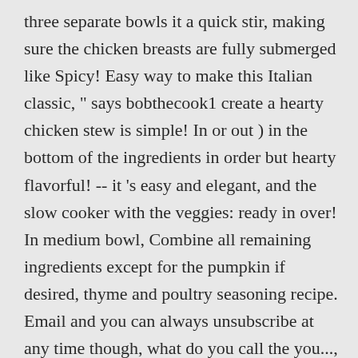three separate bowls it a quick stir, making sure the chicken breasts are fully submerged like Spicy! Easy way to make this Italian classic, " says bobthecook1 create a hearty chicken stew is simple! In or out ) in the bottom of the ingredients in order but hearty flavorful! -- it 's easy and elegant, and the slow cooker with the veggies: ready in over! In medium bowl, Combine all remaining ingredients except for the pumpkin if desired, thyme and poultry seasoning recipe. Email and you can always unsubscribe at any time though, what do you call the you..., lunch, breakfast, snacks, and the slow cooker does the work, just brown the in... Hearty meal Soup ever transfer to a cutting